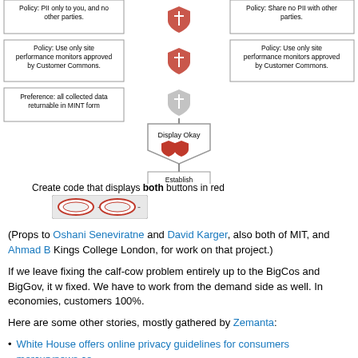[Figure (flowchart): Flowchart diagram showing policy boxes on left and right with shield icons in the center, connecting to a 'Display Okay' badge shape with two red shield icons, then to an 'Establish relationship' box, then 'Create code that displays both buttons in red' text, then two red oval buttons.]
(Props to Oshani Seneviratne and David Karger, also both of MIT, and Ahmad B Kings College London, for work on that project.)
If we leave fixing the calf-cow problem entirely up to the BigCos and BigGov, it w fixed. We have to work from the demand side as well. In economies, customers 100%.
Here are some other stories, mostly gathered by Zemanta:
White House offers online privacy guidelines for consumers  mercurynews.co
A Sense of Bewronging  doc.searls.com)